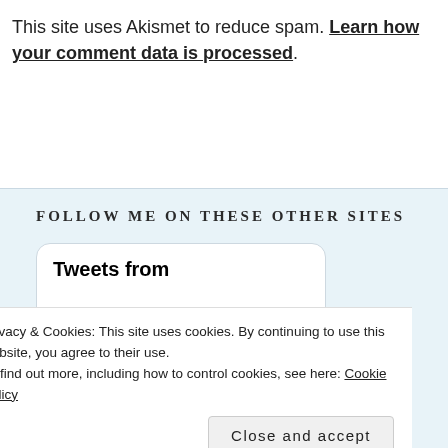This site uses Akismet to reduce spam. Learn how your comment data is processed.
FOLLOW ME ON THESE OTHER SITES
Tweets from
Privacy & Cookies: This site uses cookies. By continuing to use this website, you agree to their use.
To find out more, including how to control cookies, see here: Cookie Policy
Close and accept